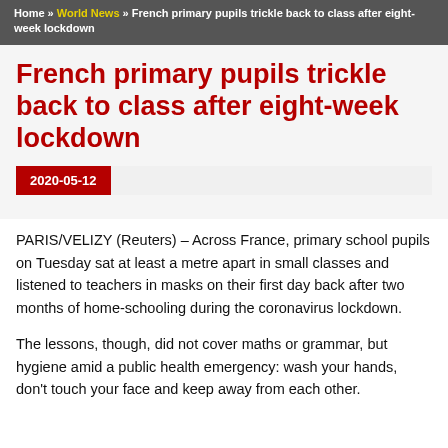Home » World News » French primary pupils trickle back to class after eight-week lockdown
French primary pupils trickle back to class after eight-week lockdown
2020-05-12
PARIS/VELIZY (Reuters) – Across France, primary school pupils on Tuesday sat at least a metre apart in small classes and listened to teachers in masks on their first day back after two months of home-schooling during the coronavirus lockdown.
The lessons, though, did not cover maths or grammar, but hygiene amid a public health emergency: wash your hands, don't touch your face and keep away from each other.